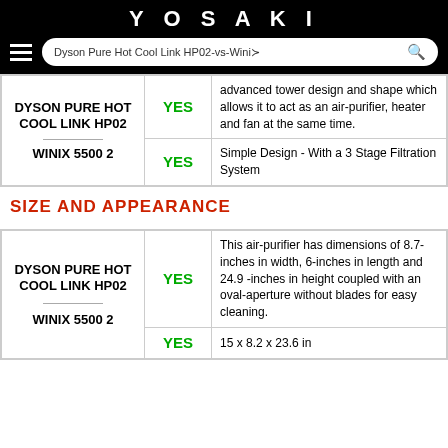YOSAKI
| Product | Yes/No | Description |
| --- | --- | --- |
| DYSON PURE HOT COOL LINK HP02 / WINIX 5500 2 | YES | advanced tower design and shape which allows it to act as an air-purifier, heater and fan at the same time. |
|  | YES | Simple Design - With a 3 Stage Filtration System |
SIZE AND APPEARANCE
| Product | Yes/No | Description |
| --- | --- | --- |
| DYSON PURE HOT COOL LINK HP02 / WINIX 5500 2 | YES | This air-purifier has dimensions of 8.7-inches in width, 6-inches in length and 24.9 -inches in height coupled with an oval-aperture without blades for easy cleaning. |
|  | YES | 15 x 8.2 x 23.6 in |